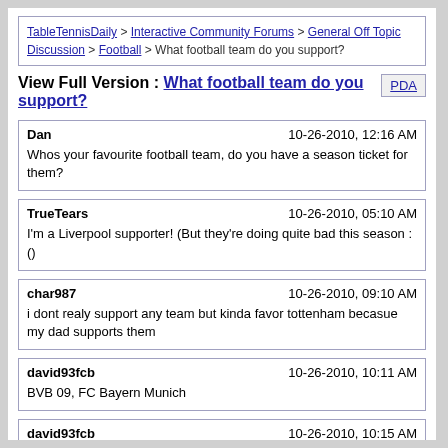TableTennisDaily > Interactive Community Forums > General Off Topic Discussion > Football > What football team do you support?
View Full Version : What football team do you support?
Dan 10-26-2010, 12:16 AM
Whos your favourite football team, do you have a season ticket for them?
TrueTears 10-26-2010, 05:10 AM
I'm a Liverpool supporter! (But they're doing quite bad this season :()
char987 10-26-2010, 09:10 AM
i dont realy support any team but kinda favor tottenham becasue my dad supports them
david93fcb 10-26-2010, 10:11 AM
BVB 09, FC Bayern Munich
david93fcb 10-26-2010, 10:15 AM
Between, Borussia Dortmund has got the best supporters worldwide!
Offensive 10-26-2010, 03:16 PM